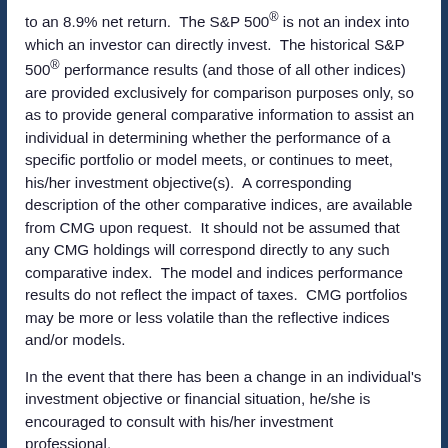to an 8.9% net return. The S&P 500® is not an index into which an investor can directly invest. The historical S&P 500® performance results (and those of all other indices) are provided exclusively for comparison purposes only, so as to provide general comparative information to assist an individual in determining whether the performance of a specific portfolio or model meets, or continues to meet, his/her investment objective(s). A corresponding description of the other comparative indices, are available from CMG upon request. It should not be assumed that any CMG holdings will correspond directly to any such comparative index. The model and indices performance results do not reflect the impact of taxes. CMG portfolios may be more or less volatile than the reflective indices and/or models.
In the event that there has been a change in an individual's investment objective or financial situation, he/she is encouraged to consult with his/her investment professional.